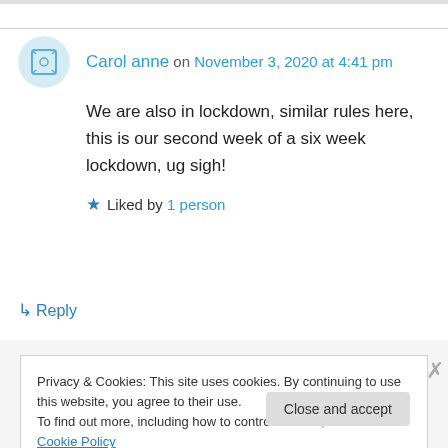Carol anne on November 3, 2020 at 4:41 pm
We are also in lockdown, similar rules here, this is our second week of a six week lockdown, ug sigh!
★ Liked by 1 person
↳ Reply
Privacy & Cookies: This site uses cookies. By continuing to use this website, you agree to their use.
To find out more, including how to control cookies, see here: Cookie Policy
Close and accept